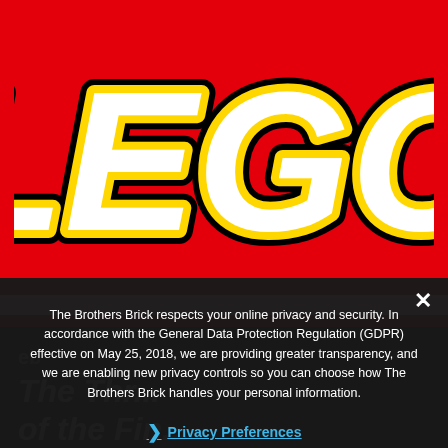[Figure (logo): LEGO logo — white bold italic text 'LEGO' on a red background with yellow outline and black shadow, classic LEGO brand logo]
The Brothers Brick respects your online privacy and security. In accordance with the General Data Protection Regulation (GDPR) effective on May 25, 2018, we are providing greater transparency, and we are enabling new privacy controls so you can choose how The Brothers Brick handles your personal information.
❯ Privacy Preferences
I Agree